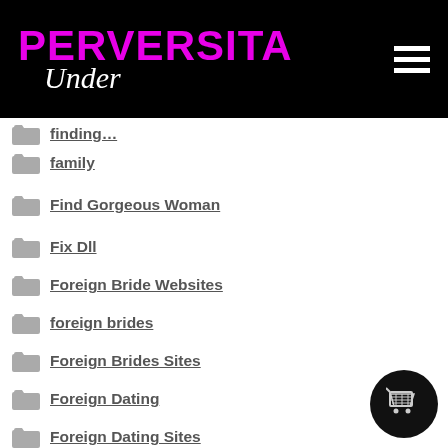PERVERSITA Under
family
Find Gorgeous Woman
Fix Dll
Foreign Bride Websites
foreign brides
Foreign Brides Sites
Foreign Dating
Foreign Dating Sites
Foreign Dating Websites
Foreign Single Women
Forex Reviews